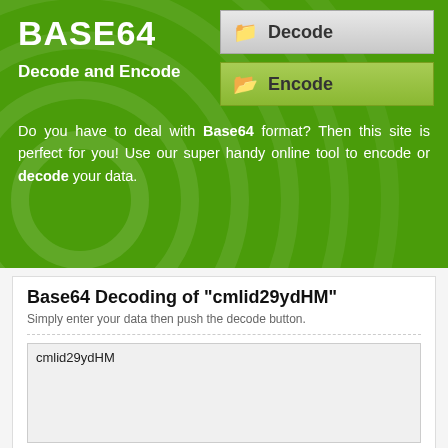BASE64
Decode and Encode
[Figure (screenshot): Decode button with folder icon, gray gradient background]
[Figure (screenshot): Encode button with folder icon, green gradient background]
Do you have to deal with Base64 format? Then this site is perfect for you! Use our super handy online tool to encode or decode your data.
Base64 Decoding of "cmlid29ydHM"
Simply enter your data then push the decode button.
cmlid29ydHM